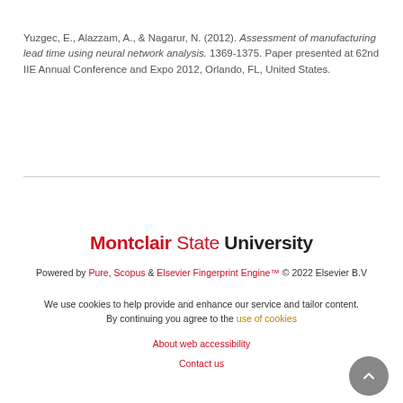Yuzgec, E., Alazzam, A., & Nagarur, N. (2012). Assessment of manufacturing lead time using neural network analysis. 1369-1375. Paper presented at 62nd IIE Annual Conference and Expo 2012, Orlando, FL, United States.
[Figure (logo): Montclair State University logo in red and black text]
Powered by Pure, Scopus & Elsevier Fingerprint Engine™ © 2022 Elsevier B.V
We use cookies to help provide and enhance our service and tailor content. By continuing you agree to the use of cookies
About web accessibility
Contact us